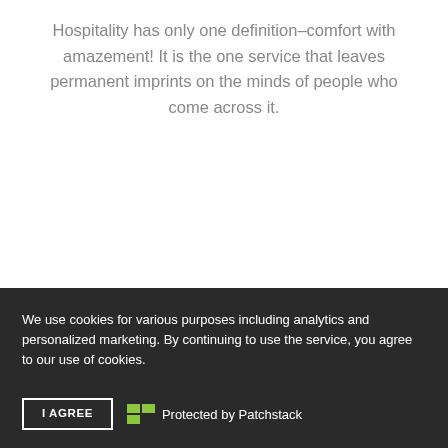Hospitality has only one definition–comfort with amazement! It is the one service that leaves permanent imprints on the minds of people who come across it.
We use cookies for various purposes including analytics and personalized marketing. By continuing to use the service, you agree to our use of cookies.
I AGREE
Protected by Patchstack